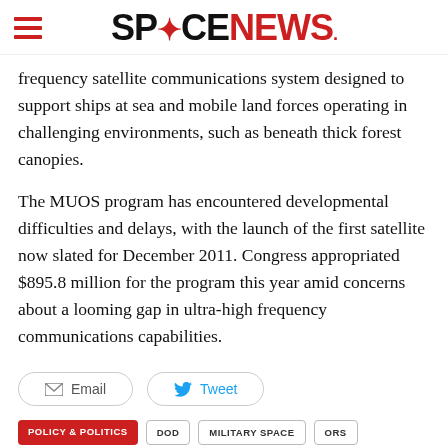SPACENEWS
frequency satellite communications system designed to support ships at sea and mobile land forces operating in challenging environments, such as beneath thick forest canopies.
The MUOS program has encountered developmental difficulties and delays, with the launch of the first satellite now slated for December 2011. Congress appropriated $895.8 million for the program this year amid concerns about a looming gap in ultra-high frequency communications capabilities.
Email
Tweet
POLICY & POLITICS
DOD
MILITARY SPACE
ORS